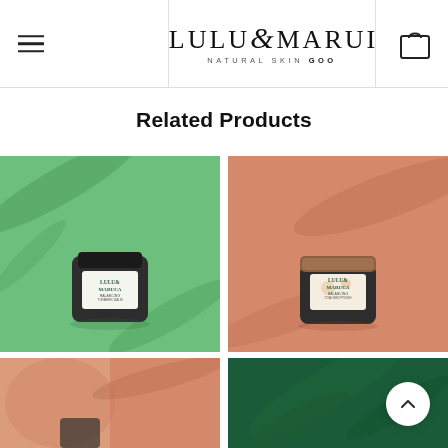LULU & MARUCA — NATURAL SKIN GOODS (navigation header with hamburger menu and bag icon)
Related Products
[Figure (photo): Lulu & Maruca product jar (Balancing Turmeric Balm) on a green background with tropical leaf shadows]
[Figure (photo): Lulu & Maruca product jar (Coral Red Polish) on a peach/salmon background with tropical palm leaf shadows]
[Figure (photo): Lulu & Maruca product (partially visible) on a peach/salmon background with fabric]
[Figure (photo): Lulu & Maruca product on a dark green background with leaf shadows (partially visible)]